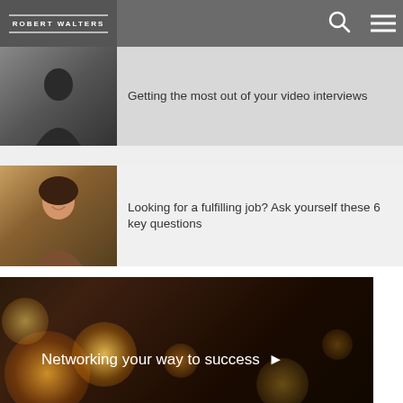ROBERT WALTERS
Getting the most out of your video interviews
English | 한국어
Looking for a fulfilling job? Ask yourself these 6 key questions
[Figure (photo): Dark bokeh lights with networking banner text: Networking your way to success]
Networking your way to success ▶